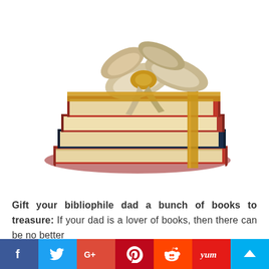[Figure (photo): A stack of hardcover books wrapped with a gold and silver ribbon bow, presented as a gift, on a white background.]
Gift your bibliophile dad a bunch of books to treasure: If your dad is a lover of books, then there can be no better
[Figure (infographic): Social media sharing bar with icons for Facebook, Twitter, Google+, Pinterest, Reddit, Yummly, and a crown/bookmark icon.]